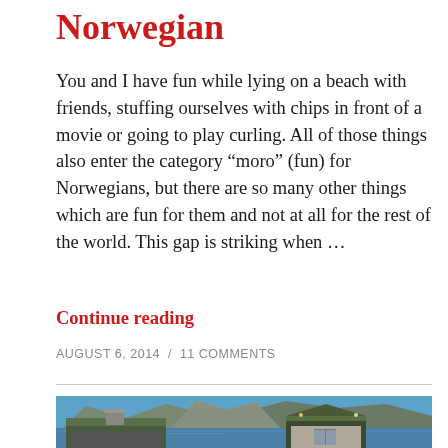Norwegian
You and I have fun while lying on a beach with friends, stuffing ourselves with chips in front of a movie or going to play curling. All of those things also enter the category “moro” (fun) for Norwegians, but there are so many other things which are fun for them and not at all for the rest of the world. This gap is striking when …
Continue reading
AUGUST 6, 2014  /  11 COMMENTS
[Figure (photo): Photograph of a Norwegian fjord landscape with green-roofed wooden cabins in the foreground, a calm blue fjord in the middle, and steep rocky mountains in the background under a clear blue sky.]